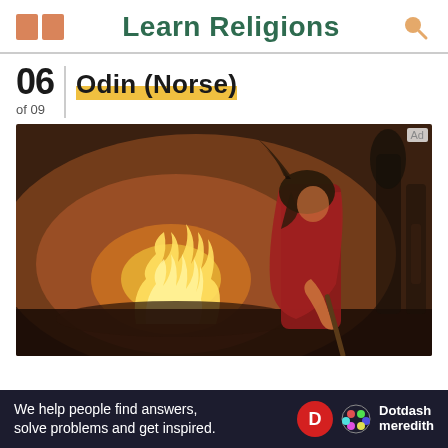Learn Religions
06 of 09 | Odin (Norse)
[Figure (illustration): Painting of Odin, a figure in a winged helmet and red robe, holding a staff, standing before a glowing fire in a dark landscape]
We help people find answers, solve problems and get inspired.